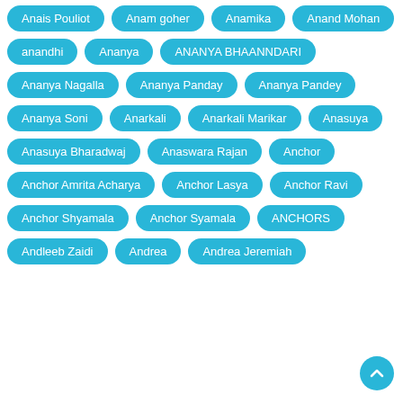Anais Pouliot
Anam goher
Anamika
Anand Mohan
anandhi
Ananya
ANANYA BHAANNDARI
Ananya Nagalla
Ananya Panday
Ananya Pandey
Ananya Soni
Anarkali
Anarkali Marikar
Anasuya
Anasuya Bharadwaj
Anaswara Rajan
Anchor
Anchor Amrita Acharya
Anchor Lasya
Anchor Ravi
Anchor Shyamala
Anchor Syamala
ANCHORS
Andleeb Zaidi
Andrea
Andrea Jeremiah